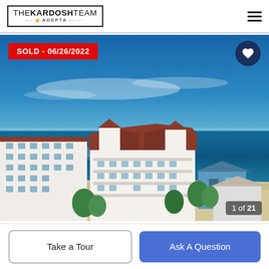THE KARDOSH TEAM by ADEPTA REALTY
[Figure (photo): Aerial view of a beachfront condominium complex with red-tiled roofs, white facades, sandy beach, and blue ocean/sky backdrop. SOLD badge with date 06/26/2022. Photo counter: 1 of 21.]
SOLD - 06/26/2022
1 of 21
Take a Tour
Ask A Question